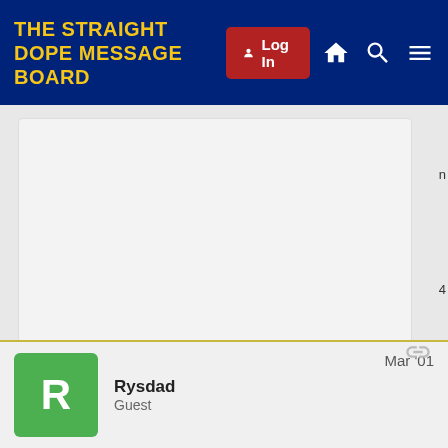THE STRAIGHT DOPE MESSAGE BOARD
[Figure (screenshot): Gray post card area, partially visible with numbers on the right edge: numbers 4, 5, 6, 7 visible at right margin]
Rysdad
Guest
Mar '01